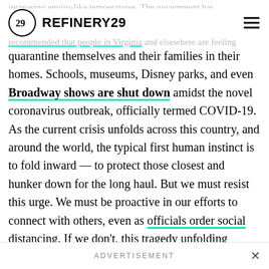REFINERY29
quarantine themselves and their families in their homes. Schools, museums, Disney parks, and even Broadway shows are shut down amidst the novel coronavirus outbreak, officially termed COVID-19. As the current crisis unfolds across this country, and around the world, the typical first human instinct is to fold inward — to protect those closest and hunker down for the long haul. But we must resist this urge. We must be proactive in our efforts to connect with others, even as officials order social distancing. If we don't, this tragedy unfolding before our eyes will be far worse.
ADVERTISEMENT